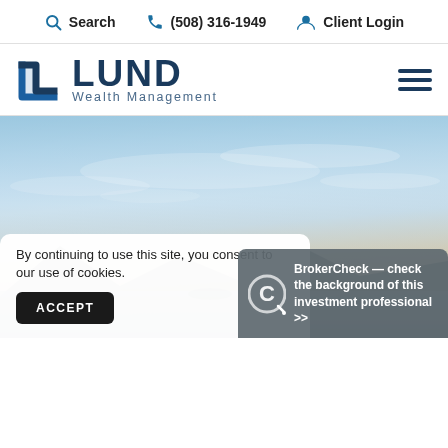Search  (508) 316-1949  Client Login
[Figure (logo): Lund Wealth Management logo with angular L icon and bold LUND text]
[Figure (photo): Hero image of a coastal sunset with soft blues, pinks, and mountain silhouettes]
By continuing to use this site, you consent to our use of cookies.
ACCEPT
BrokerCheck — check the background of this investment professional >>